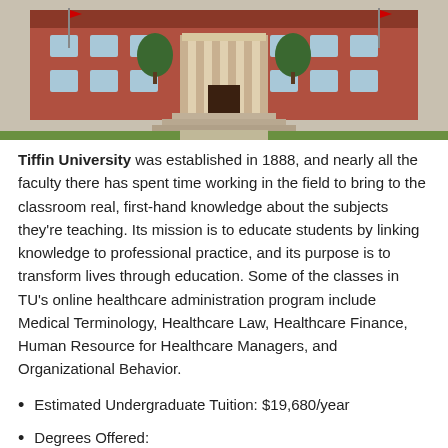[Figure (photo): Exterior photo of a brick university building (Tiffin University) with steps leading to the entrance, flanked by trees and green lawn.]
Tiffin University was established in 1888, and nearly all the faculty there has spent time working in the field to bring to the classroom real, first-hand knowledge about the subjects they're teaching. Its mission is to educate students by linking knowledge to professional practice, and its purpose is to transform lives through education. Some of the classes in TU's online healthcare administration program include Medical Terminology, Healthcare Law, Healthcare Finance, Human Resource for Healthcare Managers, and Organizational Behavior.
Estimated Undergraduate Tuition: $19,680/year
Degrees Offered: